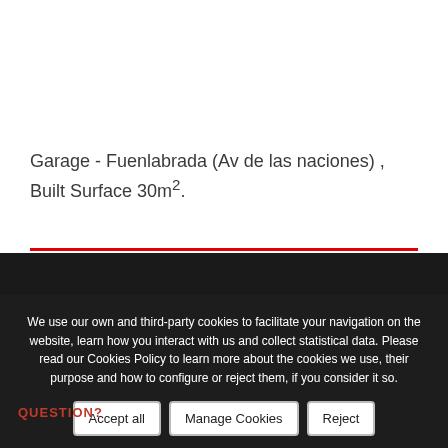Garage - Fuenlabrada (Av de las naciones) , Built Surface 30m².
+ INFO
We use our own and third-party cookies to facilitate your navigation on the website, learn how you interact with us and collect statistical data. Please read our Cookies Policy to learn more about the cookies we use, their purpose and how to configure or reject them, if you consider it so.
Accept all
Manage Cookies
Reject
QUESTION?